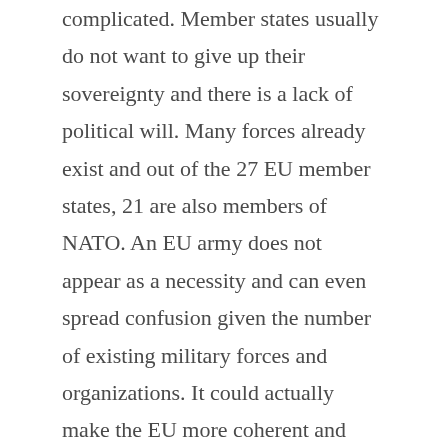complicated. Member states usually do not want to give up their sovereignty and there is a lack of political will. Many forces already exist and out of the 27 EU member states, 21 are also members of NATO. An EU army does not appear as a necessity and can even spread confusion given the number of existing military forces and organizations. It could actually make the EU more coherent and unified, but the difficult of conciliating the interests of 27 countries. The nature of this army is also discussed: